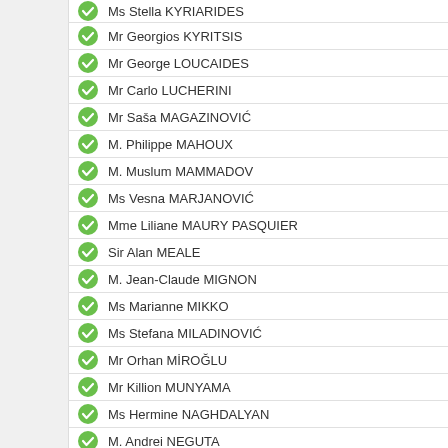Ms Stella KYRIARIDES
Mr Georgios KYRITSIS
Mr George LOUCAIDES
Mr Carlo LUCHERINI
Mr Saša MAGAZINOVIĆ
M. Philippe MAHOUX
M. Muslum MAMMADOV
Ms Vesna MARJANOVIĆ
Mme Liliane MAURY PASQUIER
Sir Alan MEALE
M. Jean-Claude MIGNON
Ms Marianne MIKKO
Ms Stefana MILADINOVIĆ
Mr Orhan MİROĞLU
Mr Killion MUNYAMA
Ms Hermine NAGHDALYAN
M. Andrei NEGUTA
M. Nicolae NENUTIU